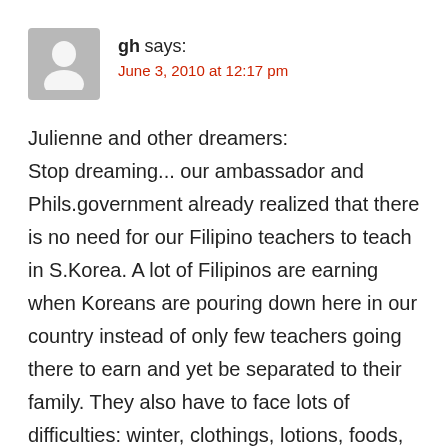gh says:
June 3, 2010 at 12:17 pm
Julienne and other dreamers:
Stop dreaming... our ambassador and Phils.government already realized that there is no need for our Filipino teachers to teach in S.Korea. A lot of Filipinos are earning when Koreans are pouring down here in our country instead of only few teachers going there to earn and yet be separated to their family. They also have to face lots of difficulties: winter, clothings, lotions, foods, high standard of living, renting, language barriers to superiors etc ..so even though you, as a teacher there is earning P80,000. ( 2,000,000 won)monthly, still more than half of your salary will just spent there.